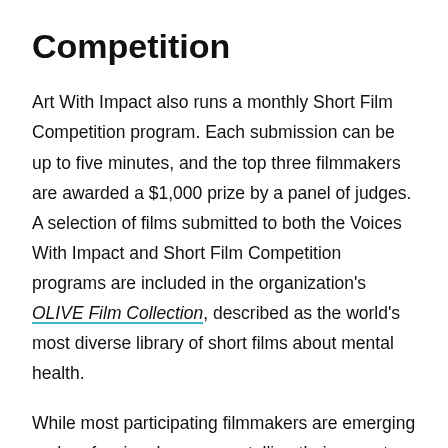Competition
Art With Impact also runs a monthly Short Film Competition program. Each submission can be up to five minutes, and the top three filmmakers are awarded a $1,000 prize by a panel of judges. A selection of films submitted to both the Voices With Impact and Short Film Competition programs are included in the organization's OLIVE Film Collection, described as the world's most diverse library of short films about mental health.
While most participating filmmakers are emerging and professional, some are telling their own story about mental health for the very first time.